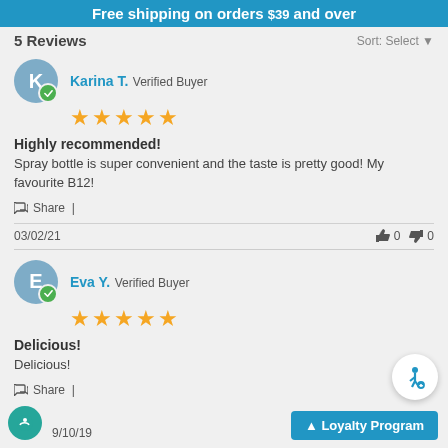Free shipping on orders $39 and over
5 Reviews  Sort: Select
Karina T. Verified Buyer ★★★★★ Highly recommended! Spray bottle is super convenient and the taste is pretty good! My favourite B12! Share | 03/02/21 👍 0 👎 0
Eva Y. Verified Buyer ★★★★★ Delicious! Delicious! Share | 09/10/19